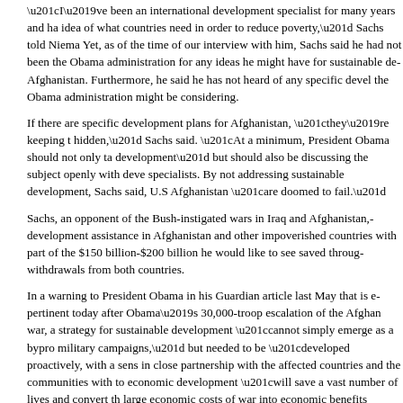“I’ve been an international development specialist for many years and ha... idea of what countries need in order to reduce poverty,” Sachs told Niema... Yet, as of the time of our interview with him, Sachs said he had not been... the Obama administration for any ideas he might have for sustainable de... Afghanistan. Furthermore, he said he has not heard of any specific devel... the Obama administration might be considering.
If there are specific development plans for Afghanistan, “they’re keeping t... hidden,” Sachs said. “At a minimum, President Obama should not only ta... development” but should also be discussing the subject openly with deve... specialists. By not addressing sustainable development, Sachs said, U.S... Afghanistan “are doomed to fail.”
Sachs, an opponent of the Bush-instigated wars in Iraq and Afghanistan,... development assistance in Afghanistan and other impoverished countries... with part of the $150 billion-$200 billion he would like to see saved throug... withdrawals from both countries.
In a warning to President Obama in his Guardian article last May that is e... pertinent today after Obama’s 30,000-troop escalation of the Afghan war,... a strategy for sustainable development “cannot simply emerge as a bypro... military campaigns,” but needed to be “developed proactively, with a sens... in close partnership with the affected countries and the communities with... to economic development “will save a vast number of lives and convert th... large economic costs of war into economic benefits through development... act before today’s crisis explodes into an even larger disaster.”
* * * * * * * * *
For his work in support of the world’s poor and opposition to the wars in I...